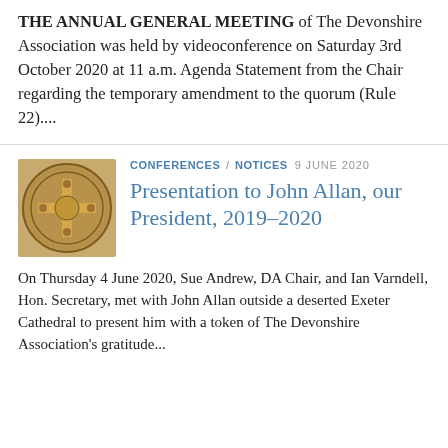THE ANNUAL GENERAL MEETING of The Devonshire Association was held by videoconference on Saturday 3rd October 2020 at 11 a.m. Agenda Statement from the Chair regarding the temporary amendment to the quorum (Rule 22)....
CONFERENCES / NOTICES  9 JUNE 2020
[Figure (photo): Circular medallion or seal of The Devonshire Association, gold/bronze toned, with a cross and decorative pattern in the center and text around the perimeter.]
Presentation to John Allan, our President, 2019–2020
On Thursday 4 June 2020, Sue Andrew, DA Chair, and Ian Varndell, Hon. Secretary, met with John Allan outside a deserted Exeter Cathedral to present him with a token of The Devonshire Association's gratitude...